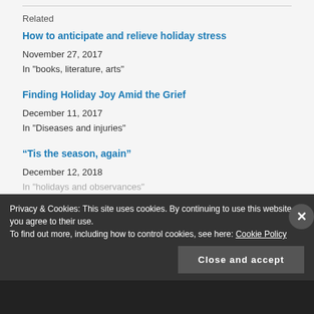Related
How to anticipate and relieve holiday stress
November 27, 2017
In "books, literature, arts"
Finding Holiday Joy Amid the Grief
December 11, 2017
In "Diseases and injuries"
“Tis the season, again”
December 12, 2018
In "holidays and observances"
Privacy & Cookies: This site uses cookies. By continuing to use this website, you agree to their use.
To find out more, including how to control cookies, see here: Cookie Policy
Close and accept